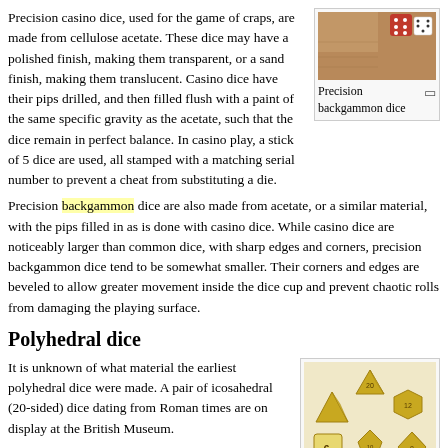Precision casino dice, used for the game of craps, are made from cellulose acetate. These dice may have a polished finish, making them transparent, or a sand finish, making them translucent. Casino dice have their pips drilled, and then filled flush with a paint of the same specific gravity as the acetate, such that the dice remain in perfect balance. In casino play, a stick of 5 dice are used, all stamped with a matching serial number to prevent a cheat from substituting a die.
[Figure (photo): Photo of precision backgammon dice on a wooden surface]
Precision backgammon dice
Precision backgammon dice are also made from acetate, or a similar material, with the pips filled in as is done with casino dice. While casino dice are noticeably larger than common dice, with sharp edges and corners, precision backgammon dice tend to be somewhat smaller. Their corners and edges are beveled to allow greater movement inside the dice cup and prevent chaotic rolls from damaging the playing surface.
Polyhedral dice
It is unknown of what material the earliest polyhedral dice were made. A pair of icosahedral (20-sided) dice dating from Roman times are on display at the British Museum.
Roughly cubical six-sided Roman dice made
[Figure (photo): Photo of a set of polyhedral dice including d20, d12, d8, d6, d4 in gold color]